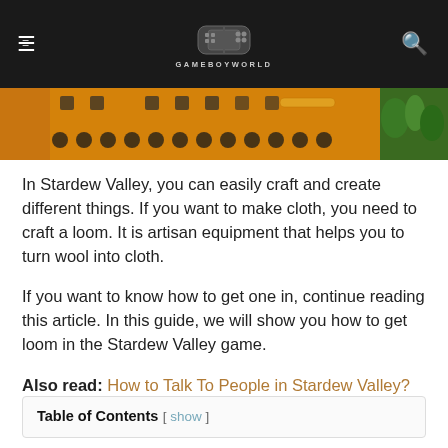GAMEBOYWORLD
[Figure (screenshot): Stardew Valley game screenshot showing orange/yellow background with character sprites and green plants]
In Stardew Valley, you can easily craft and create different things. If you want to make cloth, you need to craft a loom. It is artisan equipment that helps you to turn wool into cloth.
If you want to know how to get one in, continue reading this article. In this guide, we will show you how to get loom in the Stardew Valley game.
Also read: How to Talk To People in Stardew Valley?
Table of Contents [ show ]